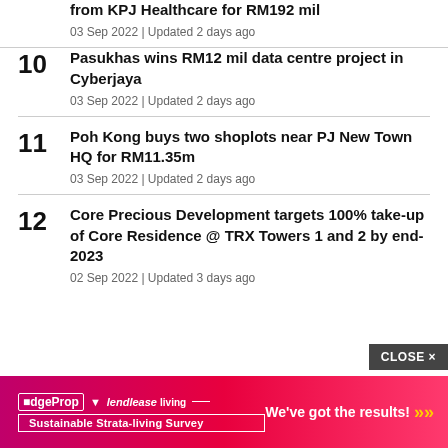from KPS Healthcare for RM192 mil — 03 Sep 2022 | Updated 2 days ago
10 Pasukhas wins RM12 mil data centre project in Cyberjaya — 03 Sep 2022 | Updated 2 days ago
11 Poh Kong buys two shoplots near PJ New Town HQ for RM11.35m — 03 Sep 2022 | Updated 2 days ago
12 Core Precious Development targets 100% take-up of Core Residence @ TRX Towers 1 and 2 by end-2023 — 02 Sep 2022 | Updated 3 days ago
[Figure (screenshot): Advertisement banner: EdgeProp and Lendlease Living Sustainable Strata-living Survey with tagline 'We've got the results!' and close button]